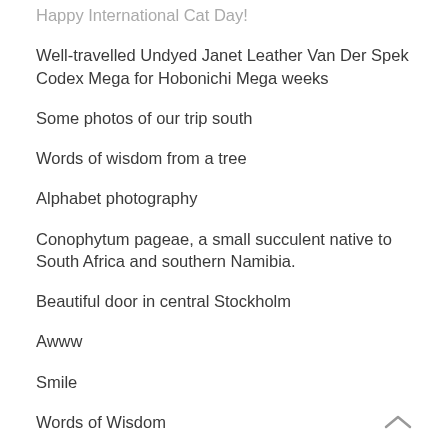Happy International Cat Day!
Well-travelled Undyed Janet Leather Van Der Spek Codex Mega for Hobonichi Mega weeks
Some photos of our trip south
Words of wisdom from a tree
Alphabet photography
Conophytum pageae, a small succulent native to South Africa and southern Namibia.
Beautiful door in central Stockholm
Awww
Smile
Words of Wisdom